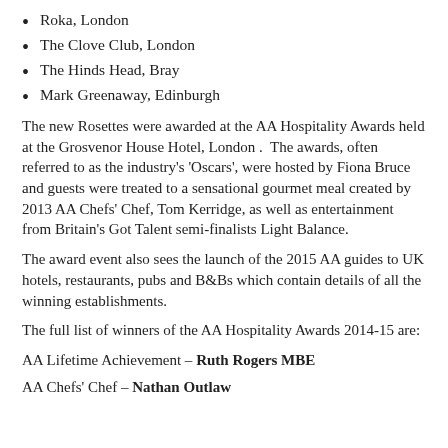Roka, London
The Clove Club, London
The Hinds Head, Bray
Mark Greenaway, Edinburgh
The new Rosettes were awarded at the AA Hospitality Awards held at the Grosvenor House Hotel, London .  The awards, often referred to as the industry’s ‘Oscars’, were hosted by Fiona Bruce and guests were treated to a sensational gourmet meal created by 2013 AA Chefs’ Chef, Tom Kerridge, as well as entertainment from Britain’s Got Talent semi-finalists Light Balance.
The award event also sees the launch of the 2015 AA guides to UK hotels, restaurants, pubs and B&Bs which contain details of all the winning establishments.
The full list of winners of the AA Hospitality Awards 2014-15 are:
AA Lifetime Achievement – Ruth Rogers MBE
AA Chefs’ Chef – Nathan Outlaw